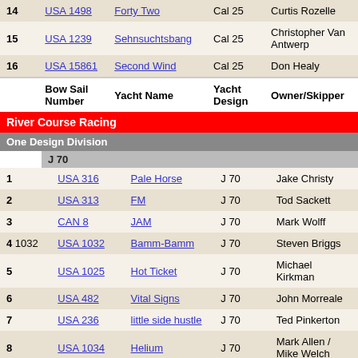| # | Bow Sail Number | Yacht Name | Yacht Design | Owner/Skipper |
| --- | --- | --- | --- | --- |
| 14 | USA 1498 | Forty Two | Cal 25 | Curtis Rozelle |
| 15 | USA 1239 | Sehnsuchtsbang | Cal 25 | Christopher Van Antwerp |
| 16 | USA 15861 | Second Wind | Cal 25 | Don Healy |
River Course Racing
One Design Division
J 70
| # | Bow Sail Number | Yacht Name | Yacht Design | Owner/Skipper |
| --- | --- | --- | --- | --- |
| 1 | USA 316 | Pale Horse | J 70 | Jake Christy |
| 2 | USA 313 | FM | J 70 | Tod Sackett |
| 3 | CAN 8 | JAM | J 70 | Mark Wolff |
| 4  1032 | USA 1032 | Bamm-Bamm | J 70 | Steven Briggs |
| 5 | USA 1025 | Hot Ticket | J 70 | Michael Kirkman |
| 6 | USA 482 | Vital Signs | J 70 | John Morreale |
| 7 | USA 236 | little side hustle | J 70 | Ted Pinkerton |
| 8 | USA 1034 | Helium | J 70 | Mark Allen / Mike Welch |
| 9 | USA 1029 | Miss Killer | J 70 | Don Glover |
Viper 640
| # | Bow Sail Number | Yacht Name | Yacht Design | Owner/Skipper |
| --- | --- | --- | --- | --- |
| 1 | USA 294 | Jackpot | Viper 640 | Lee Shuckerow |
| 2 | CAN 288 | Oshunmare | Viper 640 | Steve Chapman |